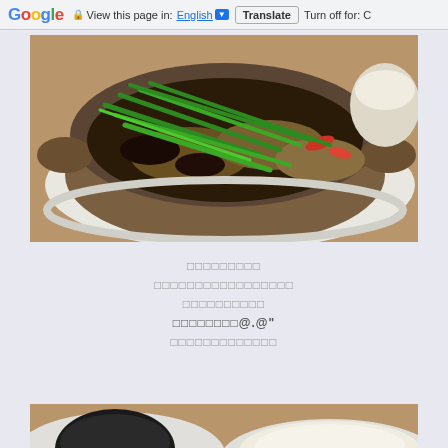Google | View this page in: English [▼] | Translate | Turn off for: C
[Figure (photo): Clay pot dish with green onions, vegetables, and meat served on a white plate, with a bowl of white rice visible in the background]
□□□□□□□□□ □□□□□□□□□□□□□□□□□ □□□□□□□□□□ □□□□□□□□@.@" □□□□□□□□□□□□□
[Figure (photo): Partial view of another food dish with black bowl and rice on a white plate]